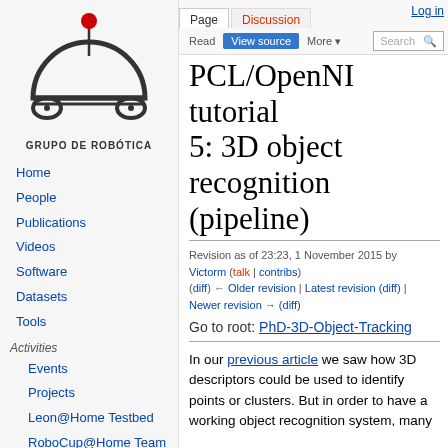[Figure (logo): Grupo de Robótica robot logo — semicircle body on wheels with antenna and red ball on top, with text 'GRUPO DE ROBÓTICA' below]
Home
People
Publications
Videos
Software
Datasets
Tools
Activities
Events
Projects
Leon@Home Testbed
RoboCup@Home Team
Log in
PCL/OpenNI tutorial 5: 3D object recognition (pipeline)
Revision as of 23:23, 1 November 2015 by Victorm (talk | contribs)
(diff) ← Older revision | Latest revision (diff) | Newer revision → (diff)
Go to root: PhD-3D-Object-Tracking
In our previous article we saw how 3D descriptors could be used to identify points or clusters. But in order to have a working object recognition system, many